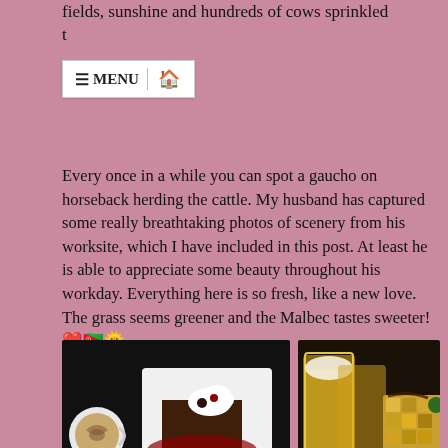fields, sunshine and hundreds of cows sprinkled t…
≡ MENU 🏠
Every once in a while you can spot a gaucho on horseback herding the cattle. My husband has captured some really breathtaking photos of scenery from his worksite, which I have included in this post. At least he is able to appreciate some beauty throughout his workday. Everything here is so fresh, like a new love. The grass seems greener and the Malbec tastes sweeter!❤️🇦🇷🌅
[Figure (photo): Coffee cup with latte art next to a brownie dessert on a white plate with whipped cream and berry sauce]
[Figure (photo): Glass of beer next to a pile of cubed food (possibly cheese or potato dish) on a decorative tablecloth]
My husband comes home from work one day with some exciting news. A colleague told him about a restaurant